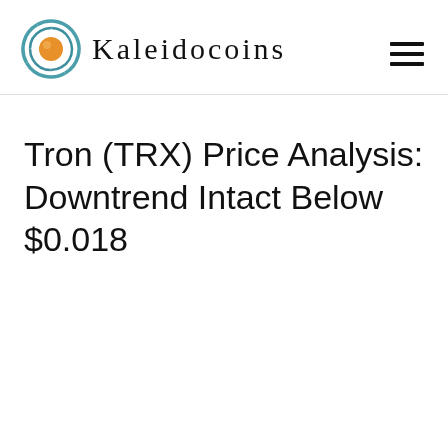Kaleidocoins
Tron (TRX) Price Analysis: Downtrend Intact Below $0.018